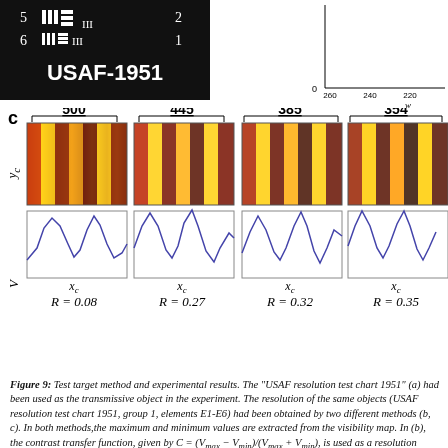[Figure (photo): USAF-1951 resolution test chart showing group 5 and 6 bar patterns on black background]
[Figure (continuous-plot): Partial plot with y-axis showing values near 0, x-axis labeled w with values 260, 240, 220]
c
[Figure (other): Four panels showing heatmaps (yc vs xc) and corresponding waveform plots (V vs xc) at wavelengths 500, 445, 385, 354 nm with R values 0.08, 0.27, 0.32, 0.35]
Figure 9: Test target method and experimental results. The "USAF resolution test chart 1951" (a) had been used as the transmissive object in the experiment. The resolution of the same objects (USAF resolution test chart 1951, group 1, elements E1-E6) had been obtained by two different methods (b, c). In both methods, the maximum and minimum values are extracted from the visibility map. In (b), the contrast transfer function, given by C = (Vmax − Vmin)/(Vmax + Vmin), is used as a resolution metric. A high